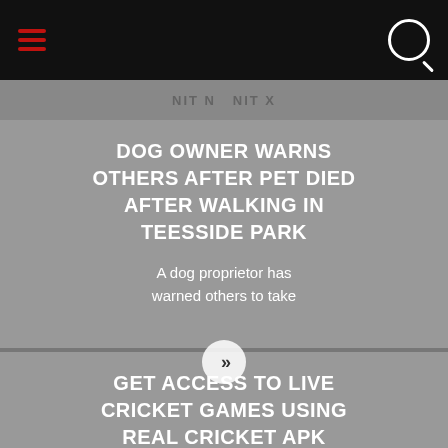Navigation bar with hamburger menu and search icon
DOG OWNER WARNS OTHERS AFTER PET DIED AFTER WALKING IN TEESSIDE PARK
A dog proprietor has warned others to take
GET ACCESS TO LIVE CRICKET GAMES USING REAL CRICKET APK
The Real Cricket 20 Mod Apk is a wonderful tool...